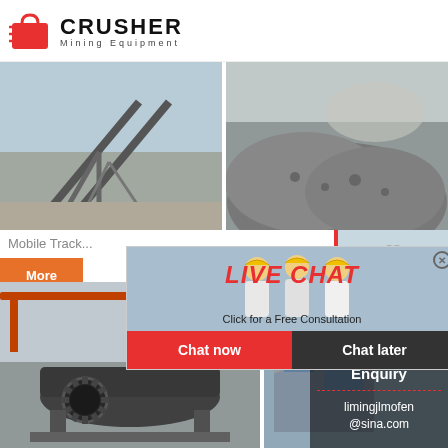[Figure (logo): Crusher Mining Equipment logo with red shopping bag icon and bold CRUSHER text]
[Figure (photo): Mining crusher/conveyor equipment facility outdoors]
[Figure (photo): Pile of crushed rock/aggregate material at mining site]
Mobile Track...
More
24Hrs Online
[Figure (infographic): Live chat popup overlay with workers in hard hats, LIVE CHAT heading, Click for a Free Consultation text, Chat now and Chat later buttons]
[Figure (photo): Customer service representative with headset]
[Figure (photo): Industrial ball mill machinery in factory]
[Figure (photo): Mining conveyor/screening equipment]
Need questions & suggestion?
Chat Now
Enquiry
limingjlmofen@sina.com